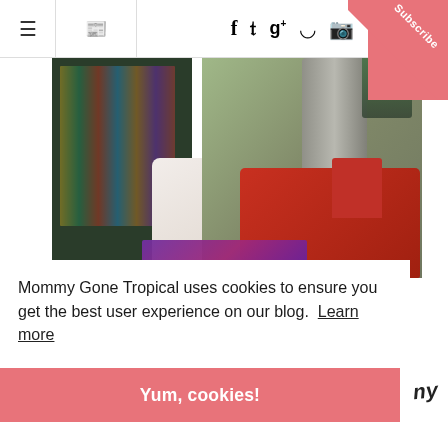≡ [newspaper icon] f t g+ p [instagram icon] Subscribe
[Figure (photo): Photo of a red toy train on a surface with a white cloth/blanket, bookshelf in the background, and a purple card at the bottom. A corner ribbon reads 'Subscribe'.]
Mommy Gone Tropical uses cookies to ensure you get the best user experience on our blog.  Learn more
Yum, cookies!